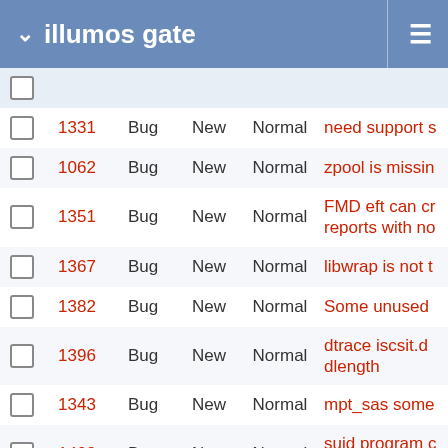illumos gate
|  | # | Type | Status | Priority | Subject |
| --- | --- | --- | --- | --- | --- |
|  | 1331 | Bug | New | Normal | need support s |
|  | 1062 | Bug | New | Normal | zpool is missin |
|  | 1351 | Bug | New | Normal | FMD eft can cr reports with no |
|  | 1367 | Bug | New | Normal | libwrap is not t |
|  | 1382 | Bug | New | Normal | Some unused |
|  | 1396 | Bug | New | Normal | dtrace iscsit.d dlength |
|  | 1343 | Bug | New | Normal | mpt_sas some |
|  | 1408 | Bug | New | Normal | suid program c instead of "nob |
|  | 980 | Bug | New | Normal | svc.configd sh zone callers |
|  | 861 | Bug | New | Normal | sharectl needs client is installe |
|  | 480 | Bug | New | Normal | speedstep cpu |